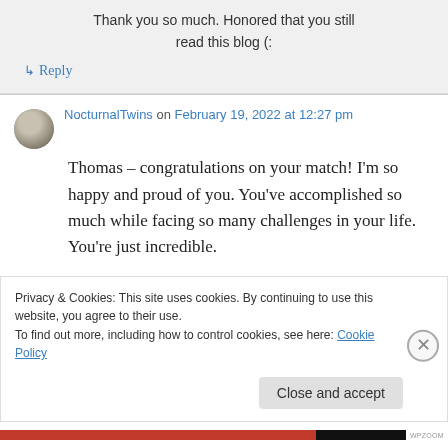Thank you so much. Honored that you still read this blog (:
↳ Reply
NocturnalTwins on February 19, 2022 at 12:27 pm
Thomas – congratulations on your match! I'm so happy and proud of you. You've accomplished so much while facing so many challenges in your life. You're just incredible.
Privacy & Cookies: This site uses cookies. By continuing to use this website, you agree to their use.
To find out more, including how to control cookies, see here: Cookie Policy
Close and accept